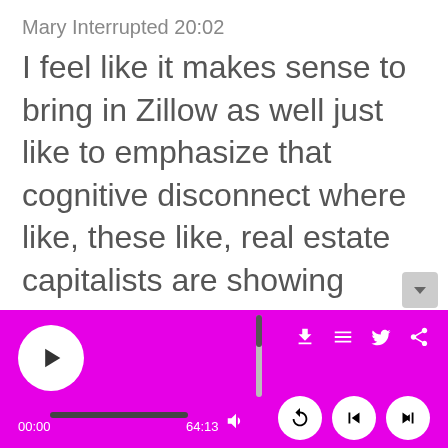Mary Interrupted 20:02
I feel like it makes sense to bring in Zillow as well just like to emphasize that cognitive disconnect where like, these like, real estate capitalists are showing people that there’s so many homes that are available, are empty. And they just can’t put two and two together to put people in homes
[Figure (screenshot): Podcast audio player bar with magenta/fuchsia background, play button, progress bar showing 00:00 of 64:13, vertical volume slider, download/list/twitter/share icons, and replay/skip-back/skip-forward control buttons]